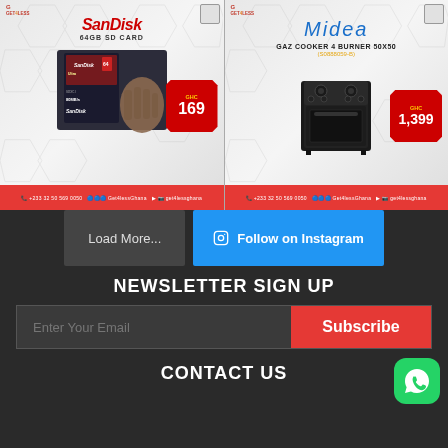[Figure (photo): SanDisk 64GB SD Card product advertisement card with red price badge showing GHC 169, Get4Less logo, hexagonal pattern background, red footer with contact info]
[Figure (photo): Midea Gas Cooker 4 Burner 50x50 product advertisement card with price badge showing GHC 1,399, Get4Less logo, hexagonal pattern background, red footer with contact info]
Load More...
Follow on Instagram
NEWSLETTER SIGN UP
Enter Your Email
Subscribe
CONTACT US